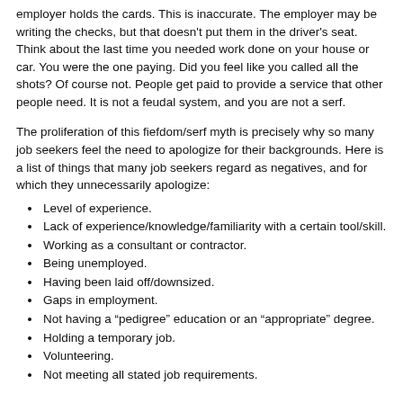employer holds the cards. This is inaccurate. The employer may be writing the checks, but that doesn't put them in the driver's seat. Think about the last time you needed work done on your house or car. You were the one paying. Did you feel like you called all the shots? Of course not. People get paid to provide a service that other people need. It is not a feudal system, and you are not a serf.
The proliferation of this fiefdom/serf myth is precisely why so many job seekers feel the need to apologize for their backgrounds. Here is a list of things that many job seekers regard as negatives, and for which they unnecessarily apologize:
Level of experience.
Lack of experience/knowledge/familiarity with a certain tool/skill.
Working as a consultant or contractor.
Being unemployed.
Having been laid off/downsized.
Gaps in employment.
Not having a “pedigree” education or an “appropriate” degree.
Holding a temporary job.
Volunteering.
Not meeting all stated job requirements.